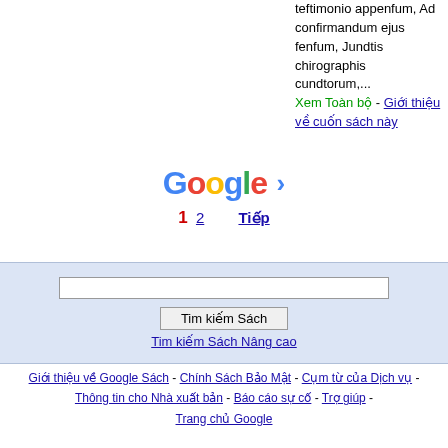teftimonio appenfum, Ad confirmandum ejus fenfum, Jundtis chirographis cundtorum,...
Xem Toàn bộ - Giới thiệu về cuốn sách này
[Figure (other): Google pagination bar with logo and page numbers 1 2 and Tiếp (Next) link]
Tim kiếm Sách | Tim kiếm Sách Nâng cao
Giới thiệu về Google Sách - Chính Sách Bảo Mật - Cụm từ của Dịch vụ - Thông tin cho Nhà xuất bản - Báo cáo sự cố - Trợ giúp - Trang chủ Google